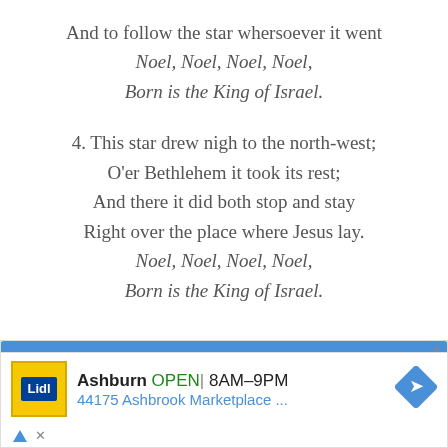And to follow the star whersoever it went
Noel, Noel, Noel, Noel,
Born is the King of Israel.
4. This star drew nigh to the north-west;
O'er Bethlehem it took its rest;
And there it did both stop and stay
Right over the place where Jesus lay.
Noel, Noel, Noel, Noel,
Born is the King of Israel.
[Figure (screenshot): Advertisement for Lidl store in Ashburn, showing OPEN status, hours 8AM-9PM, address 44175 Ashbrook Marketplace, with navigation arrow icon]